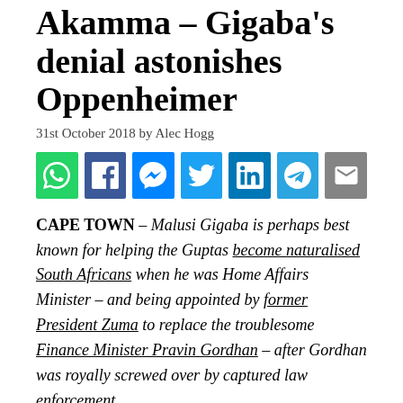Akamma – Gigaba's denial astonishes Oppenheimer
31st October 2018 by Alec Hogg
[Figure (other): Social sharing icons: WhatsApp, Facebook, Messenger, Twitter, LinkedIn, Telegram, Email]
CAPE TOWN – Malusi Gigaba is perhaps best known for helping the Guptas become naturalised South Africans when he was Home Affairs Minister – and being appointed by former President Zuma to replace the troublesome Finance Minister Pravin Gordhan – after Gordhan was royally screwed over by captured law enforcement